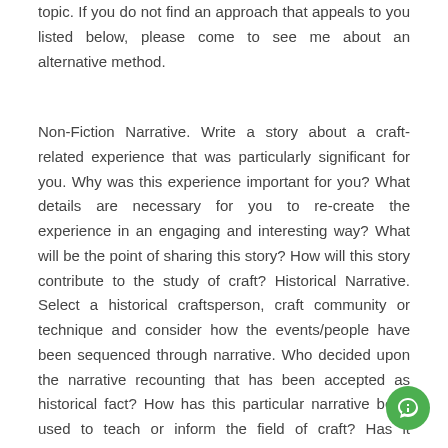topic. If you do not find an approach that appeals to you listed below, please come to see me about an alternative method.
Non-Fiction Narrative. Write a story about a craft-related experience that was particularly significant for you. Why was this experience important for you? What details are necessary for you to re-create the experience in an engaging and interesting way? What will be the point of sharing this story? How will this story contribute to the study of craft? Historical Narrative. Select a historical craftsperson, craft community or technique and consider how the events/people have been sequenced through narrative. Who decided upon the narrative recounting that has been accepted as historical fact? How has this particular narrative been used to teach or inform the field of craft? Has it succeeded in changing attitudes toward the crafts? How would you represent your chosen person/event/technique to further the development of craft discourse?